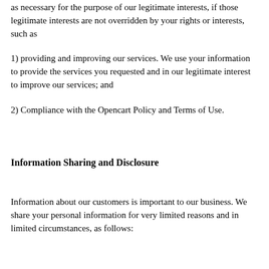as necessary for the purpose of our legitimate interests, if those legitimate interests are not overridden by your rights or interests, such as
1) providing and improving our services. We use your information to provide the services you requested and in our legitimate interest to improve our services; and
2) Compliance with the Opencart Policy and Terms of Use.
Information Sharing and Disclosure
Information about our customers is important to our business. We share your personal information for very limited reasons and in limited circumstances, as follows:
Paypal
We share your information with our service providers